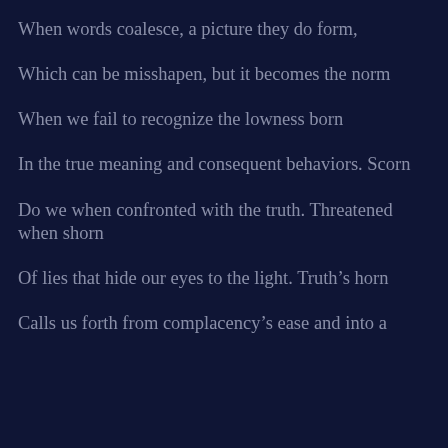When words coalesce, a picture they do form,
Which can be misshapen, but it becomes the norm
When we fail to recognize the lowness born
In the true meaning and consequent behaviors. Scorn
Do we when confronted with the truth. Threatened when shorn
Of lies that hide our eyes to the light. Truth’s horn
Calls us forth from complacency’s ease and into a